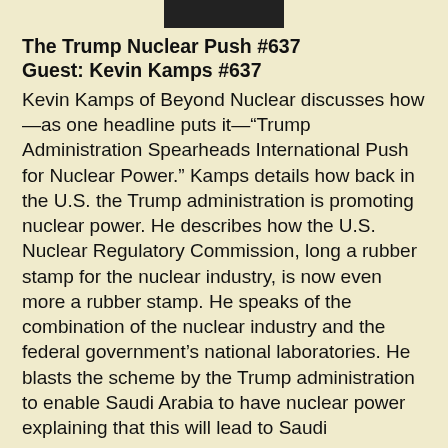[Figure (photo): A small partial photo strip showing a person's image at the top center of the page]
The Trump Nuclear Push #637
Guest: Kevin Kamps #637
Kevin Kamps of Beyond Nuclear discusses how—as one headline puts it—“Trump Administration Spearheads International Push for Nuclear Power.” Kamps details how back in the U.S. the Trump administration is promoting nuclear power. He describes how the U.S. Nuclear Regulatory Commission, long a rubber stamp for the nuclear industry, is now even more a rubber stamp. He speaks of the combination of the nuclear industry and the federal government’s national laboratories. He blasts the scheme by the Trump administration to enable Saudi Arabia to have nuclear power explaining that this will lead to Saudi